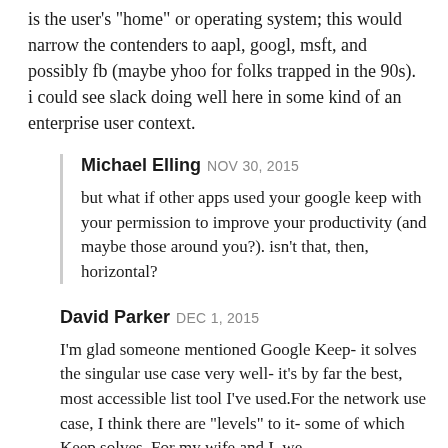is the user's "home" or operating system; this would narrow the contenders to aapl, googl, msft, and possibly fb (maybe yhoo for folks trapped in the 90s). i could see slack doing well here in some kind of an enterprise user context.
Michael Elling NOV 30, 2015
but what if other apps used your google keep with your permission to improve your productivity (and maybe those around you?). isn't that, then, horizontal?
David Parker DEC 1, 2015
I'm glad someone mentioned Google Keep- it solves the singular use case very well- it's by far the best, most accessible list tool I've used.For the network use case, I think there are "levels" to it- some of which Keep solves. For my wife and I, we